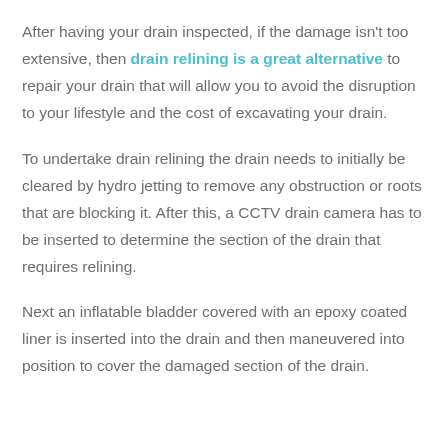After having your drain inspected, if the damage isn't too extensive, then drain relining is a great alternative to repair your drain that will allow you to avoid the disruption to your lifestyle and the cost of excavating your drain.
To undertake drain relining the drain needs to initially be cleared by hydro jetting to remove any obstruction or roots that are blocking it. After this, a CCTV drain camera has to be inserted to determine the section of the drain that requires relining.
Next an inflatable bladder covered with an epoxy coated liner is inserted into the drain and then maneuvered into position to cover the damaged section of the drain.